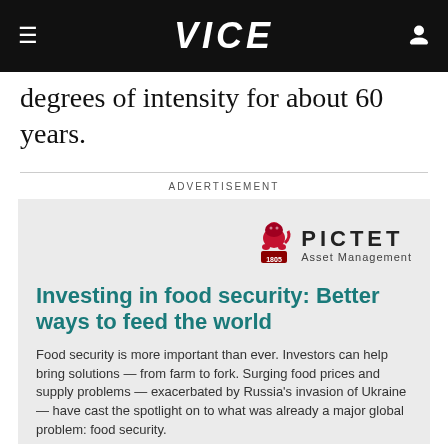VICE
degrees of intensity for about 60 years.
ADVERTISEMENT
[Figure (logo): Pictet Asset Management logo with lion emblem and year 1805]
Investing in food security: Better ways to feed the world
Food security is more important than ever. Investors can help bring solutions — from farm to fork. Surging food prices and supply problems — exacerbated by Russia's invasion of Ukraine — have cast the spotlight on to what was already a major global problem: food security.